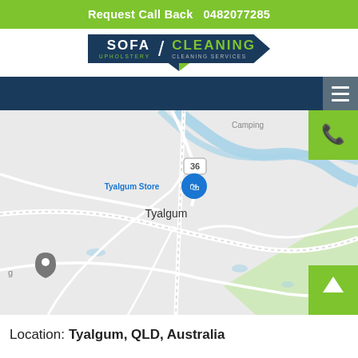Request Call Back  0482077285
[Figure (logo): Sofa / Cleaning Upholstery Cleaning Services logo in dark navy with green accent and chevron]
[Figure (screenshot): Google Maps screenshot showing Tyalgum, QLD, Australia area with roads, waterways, and location markers including Tyalgum Store and a grey location pin]
Location: Tyalgum, QLD, Australia